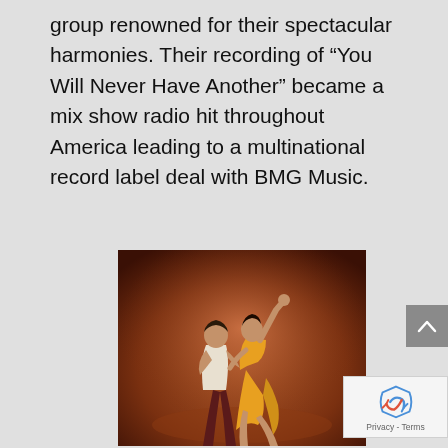group renowned for their spectacular harmonies. Their recording of “You Will Never Have Another” became a mix show radio hit throughout America leading to a multinational record label deal with BMG Music.
[Figure (photo): Two dancers performing on stage with a warm brown/amber background. One dancer in a white top and dark red pants supports the other dancer who is wearing a yellow dress and is lifted/leaning back with arm raised.]